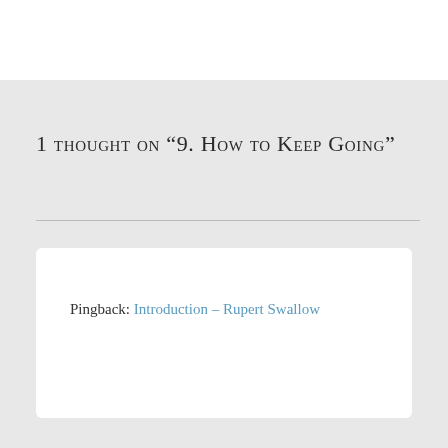1 thought on “9. How to Keep Going”
Pingback: Introduction – Rupert Swallow